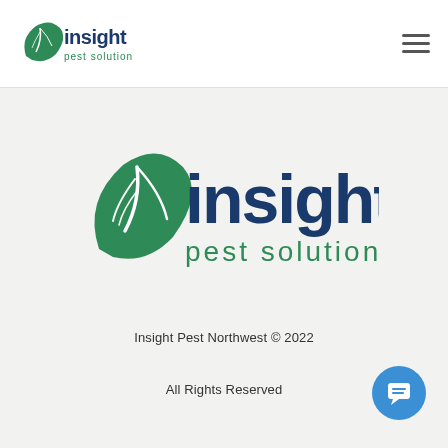Insight Pest Solutions [logo + hamburger menu]
[Figure (logo): Insight Pest Solutions large logo: green leaf icon with white vein lines, dark blue bold text 'insight', green lowercase text 'pest solutions']
Insight Pest Northwest © 2022
All Rights Reserved